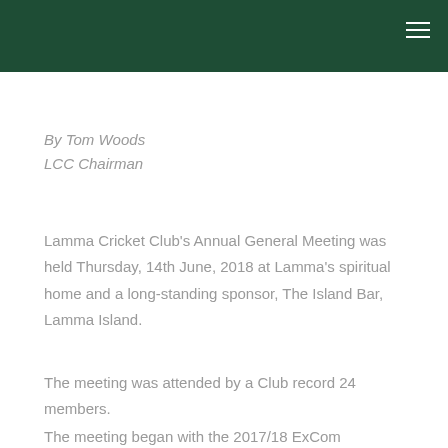By Tom Woods
LCC Chairman
Lamma Cricket Club's Annual General Meeting was held Thursday, 14th June, 2018 at Lamma's spiritual home and a long-standing sponsor, The Island Bar, Lamma Island.
The meeting was attended by a Club record 24 members.
The meeting began with the 2017/18 ExCom presenting